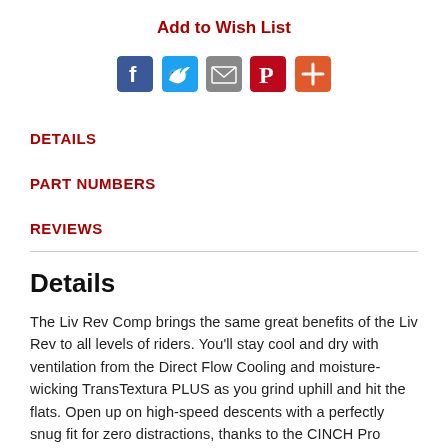Add to Wish List
[Figure (infographic): Social sharing icon buttons: Facebook (blue), Twitter (blue), Email (grey), Pinterest (red), More/Plus (orange-red)]
DETAILS
PART NUMBERS
REVIEWS
Details
The Liv Rev Comp brings the same great benefits of the Liv Rev to all levels of riders. You'll stay cool and dry with ventilation from the Direct Flow Cooling and moisture-wicking TransTextura PLUS as you grind uphill and hit the flats. Open up on high-speed descents with a perfectly snug fit for zero distractions, thanks to the CINCH Pro head-hugging fit system. Whether you attack during a group ride